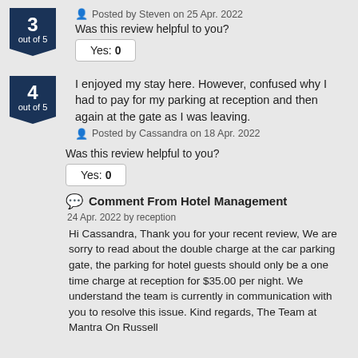[Figure (other): Rating badge showing 3 out of 5]
Posted by Steven on 25 Apr. 2022
Was this review helpful to you?
Yes: 0
[Figure (other): Rating badge showing 4 out of 5]
I enjoyed my stay here. However, confused why I had to pay for my parking at reception and then again at the gate as I was leaving.
Posted by Cassandra on 18 Apr. 2022
Was this review helpful to you?
Yes: 0
Comment From Hotel Management
24 Apr. 2022 by reception
Hi Cassandra, Thank you for your recent review, We are sorry to read about the double charge at the car parking gate, the parking for hotel guests should only be a one time charge at reception for $35.00 per night. We understand the team is currently in communication with you to resolve this issue. Kind regards, The Team at Mantra On Russell